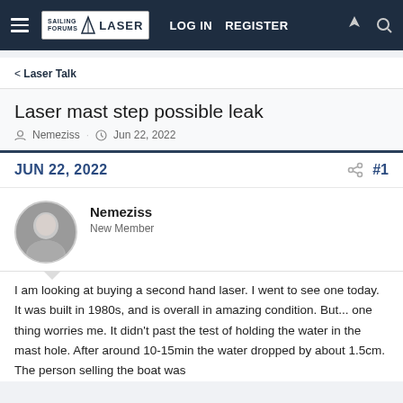Sailing Forums LASER | LOG IN | REGISTER
< Laser Talk
Laser mast step possible leak
Nemeziss · Jun 22, 2022
JUN 22, 2022  #1
Nemeziss
New Member
I am looking at buying a second hand laser. I went to see one today. It was built in 1980s, and is overall in amazing condition. But... one thing worries me. It didn't past the test of holding the water in the mast hole. After around 10-15min the water dropped by about 1.5cm. The person selling the boat was